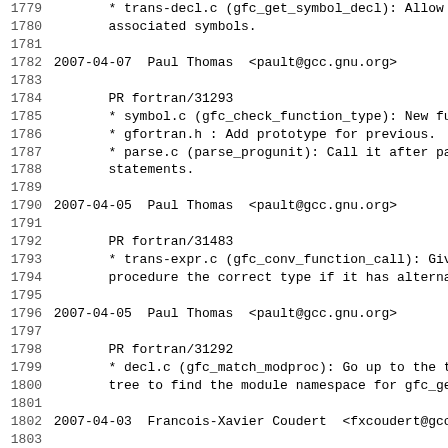1779        * trans-decl.c (gfc_get_symbol_decl): Allow unr
1780        associated symbols.
1781
1782 2007-04-07  Paul Thomas  <pault@gcc.gnu.org>
1783
1784        PR fortran/31293
1785        * symbol.c (gfc_check_function_type): New funct
1786        * gfortran.h : Add prototype for previous.
1787        * parse.c (parse_progunit): Call it after parsi
1788        statements.
1789
1790 2007-04-05  Paul Thomas  <pault@gcc.gnu.org>
1791
1792        PR fortran/31483
1793        * trans-expr.c (gfc_conv_function_call): Give a
1794        procedure the correct type if it has alternate
1795
1796 2007-04-05  Paul Thomas  <pault@gcc.gnu.org>
1797
1798        PR fortran/31292
1799        * decl.c (gfc_match_modproc): Go up to the top
1800        tree to find the module namespace for gfc_get_s
1801
1802 2007-04-03  Francois-Xavier Coudert  <fxcoudert@gcc.gnu
1803
1804        PR fortran/31304
1805        * fortran/gfortran.h (gfc_charlen_int_kind): Ne
1806        * fortran/trans-types.c (gfc_charlen_int_kind):
1807        (gfc_init_types): Define gfc_charlen_int_kind.
1808        * fortran/trans.h (gfor_fndecl_string_repeat):
1809        * fortran/trans-decl.c (gfor_fndecl_string_repe
1810        (gfc_build_intrinsic_function_decls): Don't set